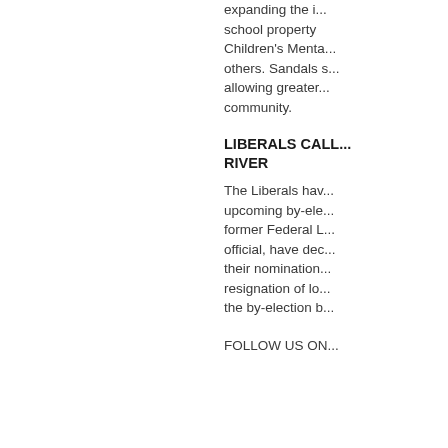expanding the i... school property ... Children's Menta... others. Sandals s... allowing greater... community.
LIBERALS CALL... RIVER
The Liberals hav... upcoming by-ele... former Federal L... official, have dec... their nomination... resignation of lo... the by-election b...
FOLLOW US ON...